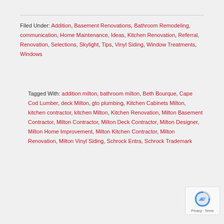Filed Under: Addition, Basement Renovations, Bathroom Remodeling, communication, Home Maintenance, Ideas, Kitchen Renovation, Referral, Renovation, Selections, Skylight, Tips, Vinyl Siding, Window Treatments, Windows
Tagged With: addition milton, bathroom milton, Beth Bourque, Cape Cod Lumber, deck Milton, gto plumbing, Kitchen Cabinets Milton, kitchen contractor, kitchen Milton, Kitchen Renovation, Milton Basement Contractor, Milton Contractor, Milton Deck Contractor, Milton Designer, Milton Home Improvement, Milton Kitchen Contractor, Milton Renovation, Milton Vinyl Siding, Schrock Entra, Schrock Trademark
Moving or Remodeling?
JULY 2, 2021 BY ALLISON GUIDO
[Figure (photo): Photo of a room interior with a chandelier visible at the top, black pendant lights hanging down against a light ceiling background.]